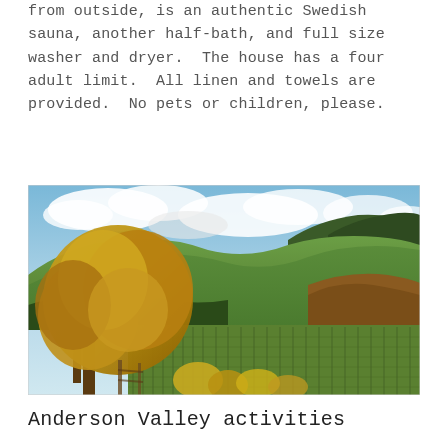from outside, is an authentic Swedish sauna, another half-bath, and full size washer and dryer.  The house has a four adult limit.  All linen and towels are provided.  No pets or children, please.
[Figure (photo): Landscape photo of Anderson Valley showing a vineyard in the foreground with rows of vines, autumn-colored trees on the left, rolling green hills in the background, and a partly cloudy blue sky.]
Anderson Valley activities